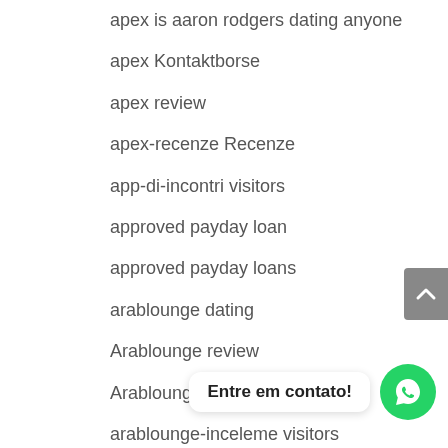apex is aaron rodgers dating anyone
apex Kontaktborse
apex review
apex-recenze Recenze
app-di-incontri visitors
approved payday loan
approved payday loans
arablounge dating
Arablounge review
Arablounge visitors
arablounge-inceleme visitors
arablounge-ov…
arablounge-recenze recenzГ